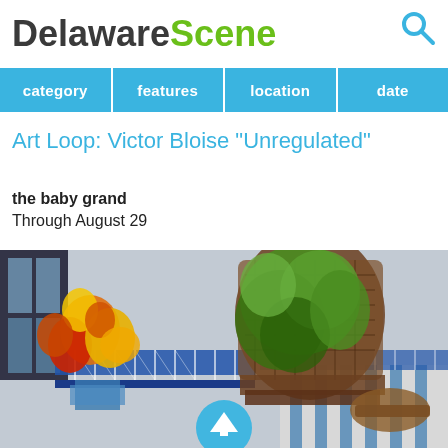DelawareScene
Art Loop: Victor Bloise "Unregulated"
the baby grand
Through August 29
[Figure (photo): Painting showing a porch or balcony scene with a wicker chair covered in green foliage, colorful flowers (orange, yellow, red) in a vase on the left, blue railing or fence in the background, and striped cushions. A teal circular scroll-up button overlays the bottom center.]